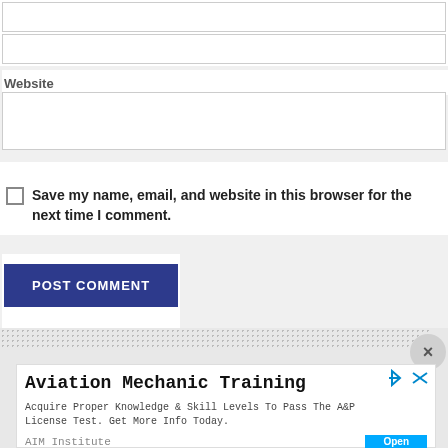[input box top 1]
[input box top 2]
Website
[website input box]
Save my name, email, and website in this browser for the next time I comment.
POST COMMENT
[Figure (screenshot): Advertisement banner for Aviation Mechanic Training by AIM Institute with an Open button]
Aviation Mechanic Training
Acquire Proper Knowledge & Skill Levels To Pass The A&P License Test. Get More Info Today.
AIM Institute
Open